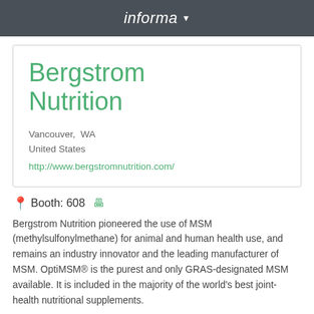informa
Bergstrom Nutrition
Vancouver,  WA
United States
http://www.bergstromnutrition.com/
Booth: 608
Bergstrom Nutrition pioneered the use of MSM (methylsulfonylmethane) for animal and human health use, and remains an industry innovator and the leading manufacturer of MSM. OptiMSM® is the purest and only GRAS-designated MSM available. It is included in the majority of the world's best joint-health nutritional supplements.